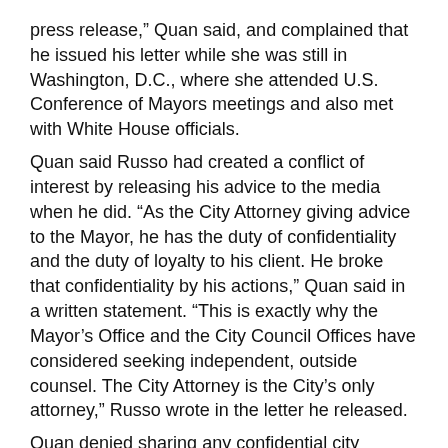press release," Quan said, and complained that he issued his letter while she was still in Washington, D.C., where she attended U.S. Conference of Mayors meetings and also met with White House officials.
Quan said Russo had created a conflict of interest by releasing his advice to the media when he did. "As the City Attorney giving advice to the Mayor, he has the duty of confidentiality and the duty of loyalty to his client. He broke that confidentiality by his actions," Quan said in a written statement. "This is exactly why the Mayor's Office and the City Council Offices have considered seeking independent, outside counsel. The City Attorney is the City's only attorney," Russo wrote in the letter he released.
Quan denied sharing any confidential city information with an attorney and friend who has been advising her, saying City Attorney John Russo's suggestion that she may be spilling secrets was “frankly, insulting.”